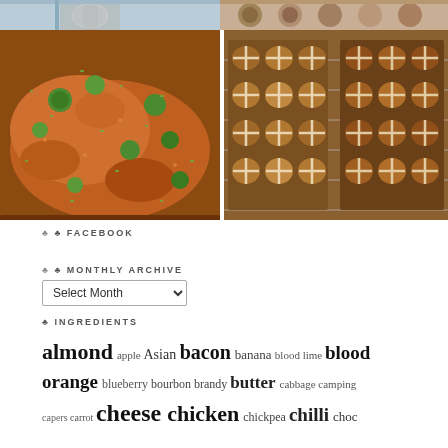[Figure (photo): Top partial strip: left photo showing a glass on a wooden table, right photo showing bread rolls with seeds]
[Figure (photo): Bottom-left photo: a pan of curry with Brussels sprouts and herbs in a spicy orange sauce]
[Figure (photo): Bottom-right photo: two trays of hot cross buns on a wire rack]
FACEBOOK
MONTHLY ARCHIVE
Select Month (dropdown)
INGREDIENTS
almond apple Asian bacon banana blood lime blood orange blueberry bourbon brandy butter cabbage camping capers carrot cheese chicken chickpea chilli choc